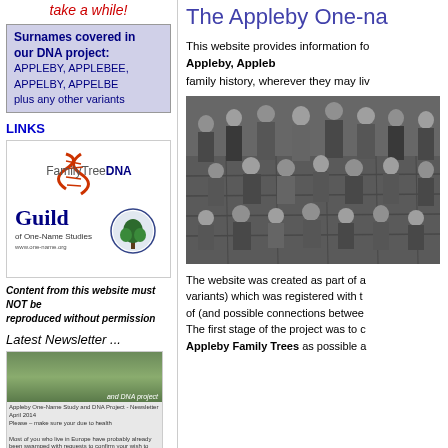take a while!
Surnames covered in our DNA project: APPLEBY, APPLEBEE, APPELBY, APPELBE plus any other variants
LINKS
[Figure (logo): FamilyTreeDNA logo]
[Figure (logo): Guild of One-Name Studies logo with tree emblem]
Content from this website must NOT be reproduced without permission
Latest Newsletter ...
[Figure (screenshot): Newsletter thumbnail showing landscape and DNA project text]
The Appleby One-na
This website provides information for those researching the Appleby, Appleb family history, wherever they may liv
[Figure (photo): Black and white historical group photo of men and boys outdoors]
The website was created as part of a One-Name Study (all variants) which was registered with the Guild. It covers variants of (and possible connections between) the Appleby surname. The first stage of the project was to collect as many Appleby Family Trees as possible a